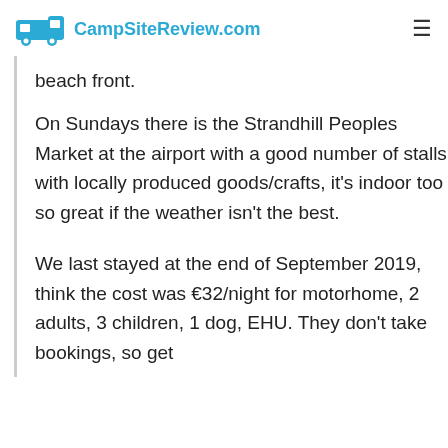CampSiteReview.com
beach front.
On Sundays there is the Strandhill Peoples Market at the airport with a good number of stalls with locally produced goods/crafts, it's indoor too so great if the weather isn't the best.
We last stayed at the end of September 2019, think the cost was €32/night for motorhome, 2 adults, 3 children, 1 dog, EHU. They don't take bookings, so get